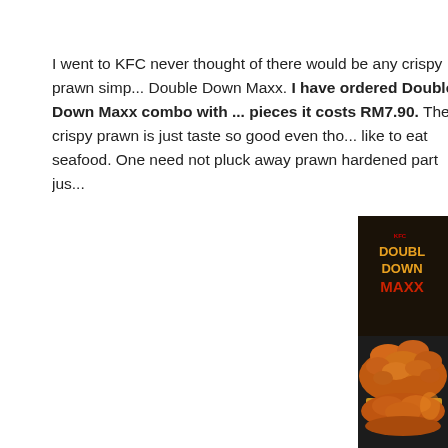I went to KFC never thought of there would be any crispy prawn simp... Double Down Maxx. I have ordered Double Down Maxx combo with ... pieces it costs RM7.90. The crispy prawn is just taste so good even tho... like to eat seafood. One need not pluck away prawn hardened part jus...
[Figure (photo): Photo of KFC Double Down Maxx burger on a black tray with the KFC Double Down Maxx logo visible on packaging behind it. The burger shows crispy fried chicken pieces with cheese and other fillings visible.]